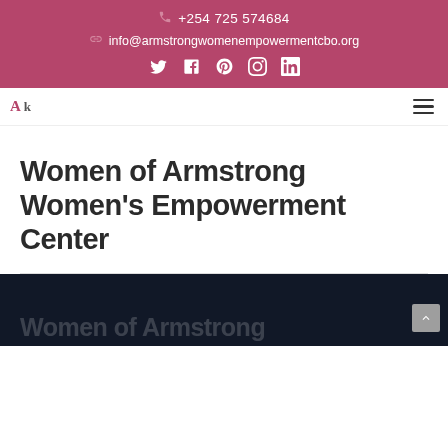+254 725 574684 | info@armstrongwomenempowermentcbo.org
Women of Armstrong Women's Empowerment Center
[Figure (screenshot): Dark background section showing beginning of large text 'Women of Armstrong' fading in dark navy background, with scroll-to-top button at bottom right]